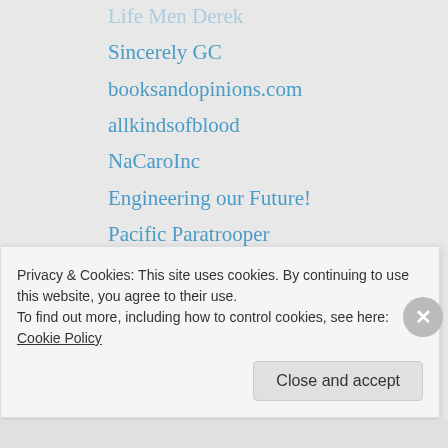Life Men Derek
Sincerely GC
booksandopinions.com
allkindsofblood
NaCaroInc
Engineering our Future!
Pacific Paratrooper
Hell on Wheels
straw to steel
lemanshots - Fine Pictures and Digital Art
Anna Gardiner
cancer killing recipe
RealDefense
The way I see things ...
Open Expression 84
Privacy & Cookies: This site uses cookies. By continuing to use this website, you agree to their use.
To find out more, including how to control cookies, see here: Cookie Policy
Close and accept